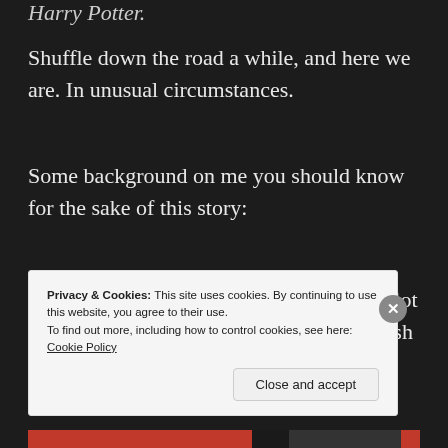Harry Potter.
Shuffle down the road a while, and here we are. In unusual circumstances.
Some background on me you should know for the sake of this story:
I speak very poor tourist's German. For a lot of reasons. My end-goal is entirely a selfish one. I
Privacy & Cookies: This site uses cookies. By continuing to use this website, you agree to their use.
To find out more, including how to control cookies, see here: Cookie Policy
Close and accept